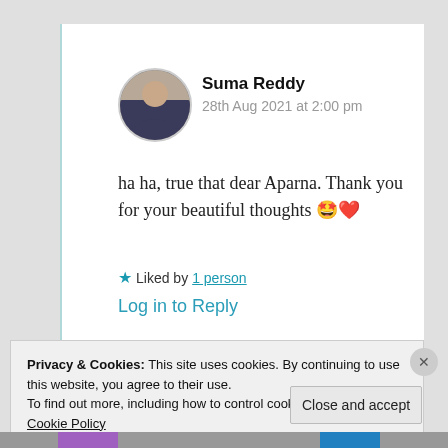Suma Reddy
28th Aug 2021 at 2:00 pm
ha ha, true that dear Aparna. Thank you for your beautiful thoughts 🤩❤️
★ Liked by 1 person
Log in to Reply
Privacy & Cookies: This site uses cookies. By continuing to use this website, you agree to their use.
To find out more, including how to control cookies, see here: Cookie Policy
Close and accept